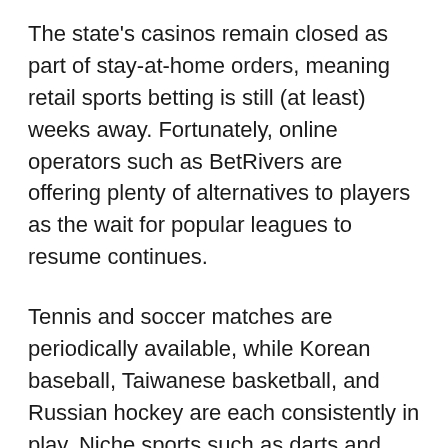The state's casinos remain closed as part of stay-at-home orders, meaning retail sports betting is still (at least) weeks away. Fortunately, online operators such as BetRivers are offering plenty of alternatives to players as the wait for popular leagues to resume continues.
Tennis and soccer matches are periodically available, while Korean baseball, Taiwanese basketball, and Russian hockey are each consistently in play. Niche sports such as darts and table tennis, the latter of which has been the most heavily bet sport at BetRivers over the last four weeks, are also available.
UFC 249 will take place on May 9, marking the first